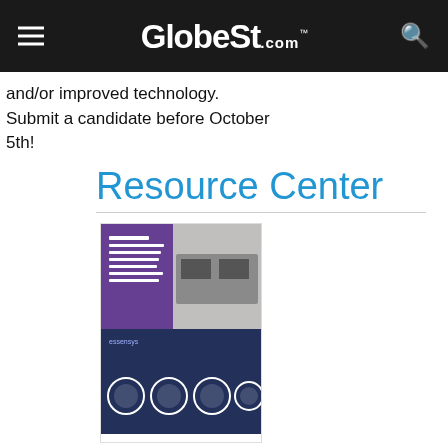GlobeSt.com
and/or improved technology. Submit a candidate before October 5th!
Resource Center
[Figure (illustration): Ebook cover image for 'The Business Case for an Intelligent Digital Backbone in Multi-tenanted Commercial Buildings' by Essensys, showing a purple and gray design with an office interior photo and circular icon elements at the bottom.]
EBOOK
SPONSORED BY ESSENSYS
The Business Case for an Intelligent Digital Backbone in Multi-tenanted Commercial